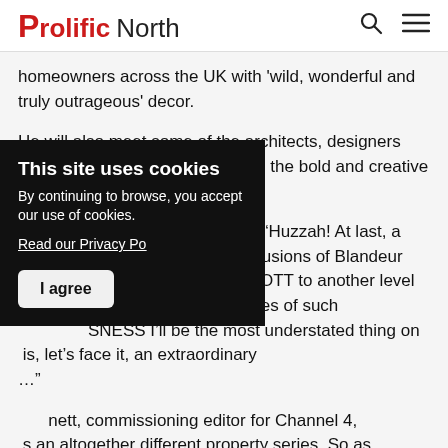Prolific North
homeowners across the UK with 'wild, wonderful and truly outrageous' decor.
He will also meet some of the architects, designers and decorators who helped bring the bold and creative visions to life in 4x60 episodes.
Laurence Llewelyn-Bowen said: “Huzzah! At last, a property [turns] its back on Delusions of Blandeur and [celebrates] homes that take OTT to another level of [in] fact, we’ll be filming in spaces of such [BOLDNESS] I’ll be the most understated thing on [this] is, let’s face it, an extraordinary […]”
[Bennett], commissioning editor for Channel 4, [this] is an altogether different property series. So as […]
[Figure (other): Cookie consent overlay: 'This site uses cookies' with text 'By continuing to browse, you accept our use of cookies.' and a 'Read our Privacy Po[licy]' link and 'I agree' button.]